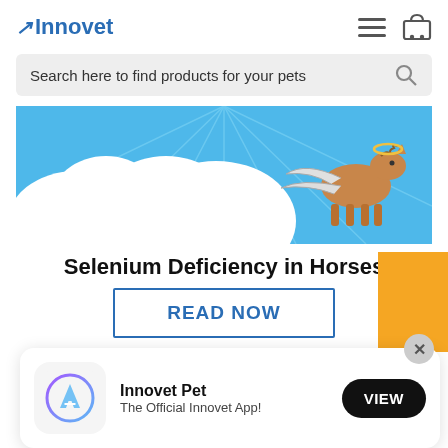[Figure (logo): Innovet logo with blue italic arrow and bold blue text]
Search here to find products for your pets
[Figure (illustration): Colorful banner showing cartoon clouds and a winged horse (pegasus) on a blue sky background]
Selenium Deficiency in Horses
READ NOW
[Figure (screenshot): App store banner showing Innovet Pet app icon, text 'Innovet Pet - The Official Innovet App!' and a VIEW button]